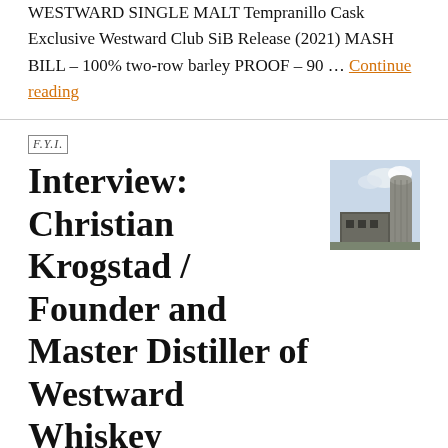WESTWARD SINGLE MALT Tempranillo Cask Exclusive Westward Club SiB Release (2021) MASH BILL – 100% two-row barley PROOF – 90 … Continue reading
F.Y.I.
Interview: Christian Krogstad / Founder and Master Distiller of Westward Whiskey
[Figure (photo): Small thumbnail photograph of a distillery building exterior with a large cylindrical silo/tank against a partly cloudy sky]
My first taste of Westward Whiskey was a doozy, a 131-proof Single Malt single barrel,